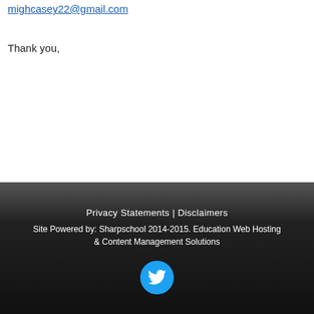mighcasey22@gmail.com
Thank you,
Privacy Statements | Disclaimers
Site Powered by: Sharpschool 2014-2015. Education Web Hosting & Content Management Solutions